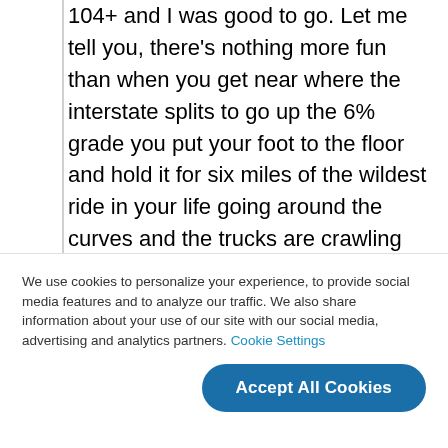104+ and I was good to go. Let me tell you, there's nothing more fun than when you get near where the interstate splits to go up the 6% grade you put your foot to the floor and hold it for six miles of the wildest ride in your life going around the curves and the trucks are crawling up in the truck lane.

Anyway, do stay in touch. My email is Brakeshoe4515T@gmail.com and I'm @DAV...
We use cookies to personalize your experience, to provide social media features and to analyze our traffic. We also share information about your use of our site with our social media, advertising and analytics partners. Cookie Settings
Accept All Cookies